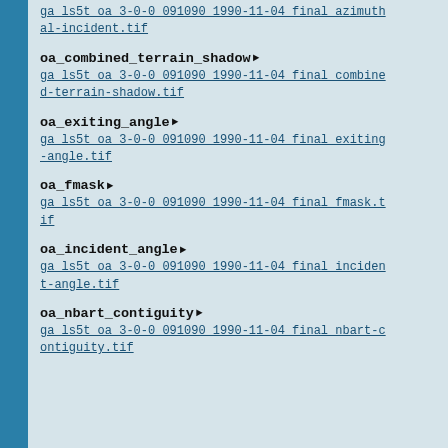ga_ls5t_oa_3-0-0_091090_1990-11-04_final_azimuthal-incident.tif
oa_combined_terrain_shadow ▶
ga_ls5t_oa_3-0-0_091090_1990-11-04_final_combined-terrain-shadow.tif
oa_exiting_angle ▶
ga_ls5t_oa_3-0-0_091090_1990-11-04_final_exiting-angle.tif
oa_fmask ▶
ga_ls5t_oa_3-0-0_091090_1990-11-04_final_fmask.tif
oa_incident_angle ▶
ga_ls5t_oa_3-0-0_091090_1990-11-04_final_incident-angle.tif
oa_nbart_contiguity ▶
ga_ls5t_oa_3-0-0_091090_1990-11-04_final_nbart-contiguity.tif